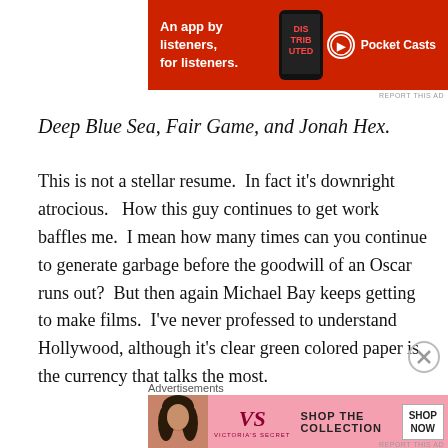[Figure (other): Pocket Casts advertisement banner — red background with text 'An app by listeners, for listeners.' and Pocket Casts logo]
Deep Blue Sea, Fair Game, and Jonah Hex.
This is not a stellar resume.  In fact it's downright atrocious.   How this guy continues to get work baffles me.  I mean how many times can you continue to generate garbage before the goodwill of an Oscar runs out?  But then again Michael Bay keeps getting to make films.  I've never professed to understand Hollywood, although it's clear green colored paper is the currency that talks the most.
[Figure (other): Victoria's Secret advertisement banner — pink background with model, VS logo, 'SHOP THE COLLECTION' text and 'SHOP NOW' button]